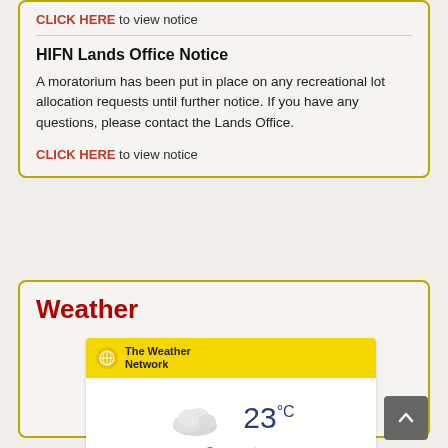CLICK HERE to view notice
HIFN Lands Office Notice
A moratorium has been put in place on any recreational lot allocation requests until further notice. If you have any questions, please contact the Lands Office.
CLICK HERE to view notice
Weather
[Figure (screenshot): The Weather Network widget showing 23°C and Overcast conditions with a cloudy icon and yellow header.]